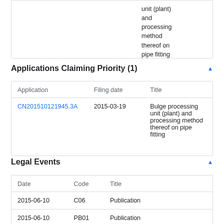| Application | Filing date | Title |
| --- | --- | --- |
| CN201510121945.3A | 2015-03-19 | Bulge processing unit (plant) and processing method thereof on pipe fitting |
Applications Claiming Priority (1)
| Application | Filing date | Title |
| --- | --- | --- |
| CN201510121945.3A | 2015-03-19 | Bulge processing unit (plant) and processing method thereof on pipe fitting |
Legal Events
| Date | Code | Title |
| --- | --- | --- |
| 2015-06-10 | C06 | Publication |
| 2015-06-10 | PB01 | Publication |